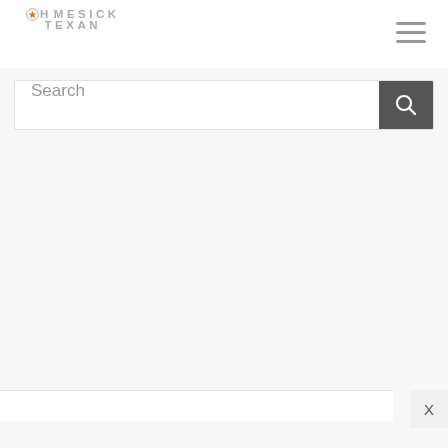[Figure (logo): Homesick Texan logo with star icon, gray text reading HOMESICK TEXAN]
[Figure (other): Hamburger menu icon (three horizontal lines) in top right]
Search
X